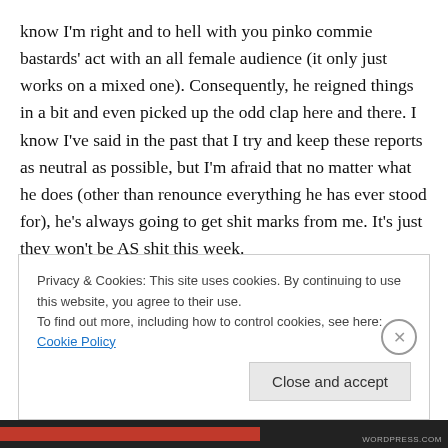know I'm right and to hell with you pinko commie bastards' act with an all female audience (it only just works on a mixed one). Consequently, he reigned things in a bit and even picked up the odd clap here and there. I know I've said in the past that I try and keep these reports as neutral as possible, but I'm afraid that no matter what he does (other than renounce everything he has ever stood for), he's always going to get shit marks from me. It's just they won't be AS shit this week.
Privacy & Cookies: This site uses cookies. By continuing to use this website, you agree to their use.
To find out more, including how to control cookies, see here: Cookie Policy